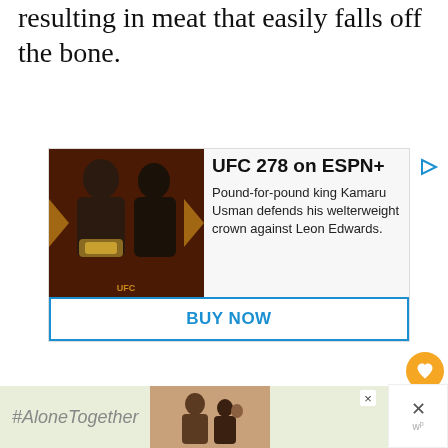resulting in meat that easily falls off the bone.
[Figure (photo): Advertisement for UFC 278 on ESPN+. Shows two MMA fighters facing each other (Kamaru Usman vs Leon Edwards) on a dark reddish-brown promotional background with UFC branding. Text reads: UFC 278 on ESPN+ — Pound-for-pound king Kamaru Usman defends his welterweight crown against Leon Edwards. BUY NOW button at the bottom.]
[Figure (photo): Advertisement banner with #AloneTogether text and a photo of a smiling family.]